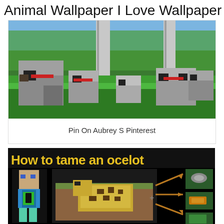Animal Wallpaper I Love Wallpaper
[Figure (screenshot): Minecraft scene with multiple blocky wolf/dog characters standing and sitting on green grass with birch trees in the background]
Pin On Aubrey S Pinterest
[Figure (screenshot): Minecraft tutorial image showing how to tame an ocelot, with yellow text 'How to tame an ocelot' at top, a Minecraft character on the left, an ocelot in a dirt enclosure in the center, and arrows pointing to fish items on the right]